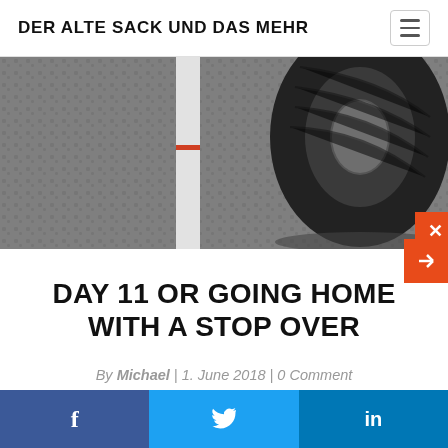DER ALTE SACK UND DAS MEHR
[Figure (photo): Close-up photo of a vehicle tire on a textured metal/asphalt surface with a white painted line and a small red mark]
DAY 11 OR GOING HOME WITH A STOP OVER
By Michael | 1. June 2018 | 0 Comment
Social share bar with Facebook, Twitter, LinkedIn icons